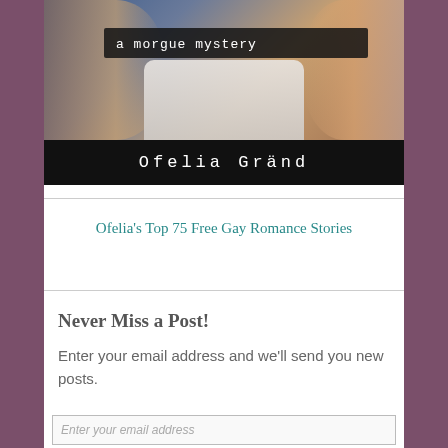[Figure (illustration): Book cover showing 'a morgue mystery' text banner over a photo of two people, with black bar at bottom reading 'Ofelia Gränd' in monospace font]
Ofelia's Top 75 Free Gay Romance Stories
Never Miss a Post!
Enter your email address and we'll send you new posts.
Enter your email address